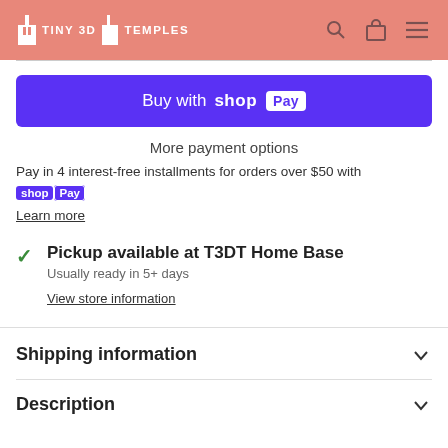TINY 3D TEMPLES
[Figure (screenshot): Buy with Shop Pay button (purple)]
More payment options
Pay in 4 interest-free installments for orders over $50 with Shop Pay. Learn more
Pickup available at T3DT Home Base
Usually ready in 5+ days
View store information
Shipping information
Description